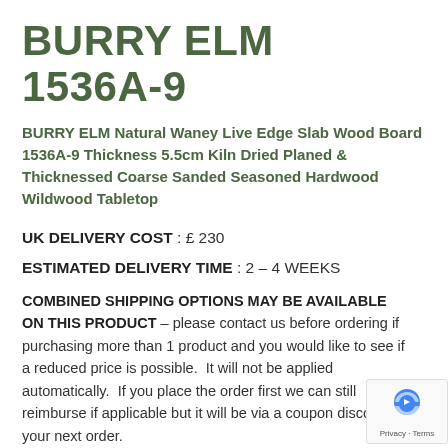BURRY ELM 1536A-9
BURRY ELM Natural Waney Live Edge Slab Wood Board 1536A-9 Thickness 5.5cm Kiln Dried Planed & Thicknessed Coarse Sanded Seasoned Hardwood Wildwood Tabletop
UK DELIVERY COST : £ 230
ESTIMATED DELIVERY TIME : 2 – 4 WEEKS
COMBINED SHIPPING OPTIONS MAY BE AVAILABLE ON THIS PRODUCT – please contact us before ordering if purchasing more than 1 product and you would like to see if a reduced price is possible. It will not be applied automatically. If you place the order first we can still reimburse if applicable but it will be via a coupon discount off your next order.
or – CLICK & COLLECT from the Lanarkshire store